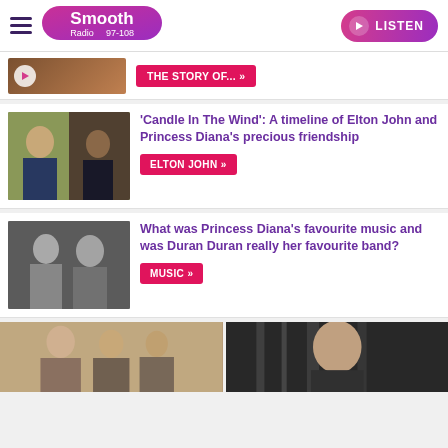Smooth Radio 97-108 — LISTEN
[Figure (screenshot): Partial article card with play button overlay on thumbnail image]
THE STORY OF... »
[Figure (photo): Photo of Princess Diana and Elton John together]
'Candle In The Wind': A timeline of Elton John and Princess Diana's precious friendship
ELTON JOHN »
[Figure (photo): Black and white photo of Princess Diana with Duran Duran]
What was Princess Diana's favourite music and was Duran Duran really her favourite band?
MUSIC »
[Figure (photo): Two partial images at the bottom of the page — left shows a group of people, right shows a man's face]